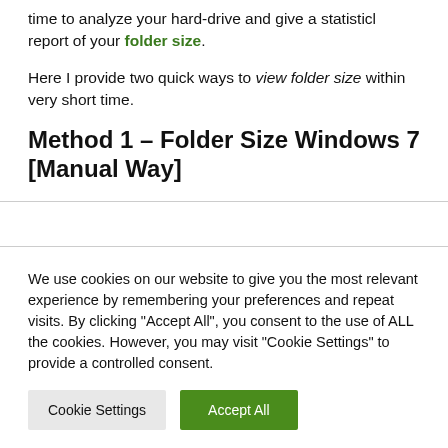time to analyze your hard-drive and give a statistical report of your folder size.
Here I provide two quick ways to view folder size within very short time.
Method 1 – Folder Size Windows 7 [Manual Way]
We use cookies on our website to give you the most relevant experience by remembering your preferences and repeat visits. By clicking "Accept All", you consent to the use of ALL the cookies. However, you may visit "Cookie Settings" to provide a controlled consent.